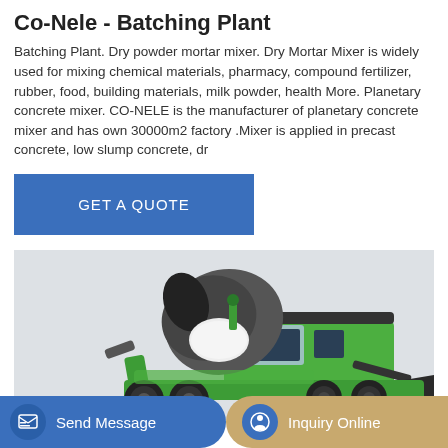Co-Nele - Batching Plant
Batching Plant. Dry powder mortar mixer. Dry Mortar Mixer is widely used for mixing chemical materials, pharmacy, compound fertilizer, rubber, food, building materials, milk powder, health More. Planetary concrete mixer. CO-NELE is the manufacturer of planetary concrete mixer and has own 30000m2 factory .Mixer is applied in precast concrete, low slump concrete, dr
GET A QUOTE
[Figure (photo): A green self-loading concrete mixer truck on a light grey background]
Send Message
Inquiry Online